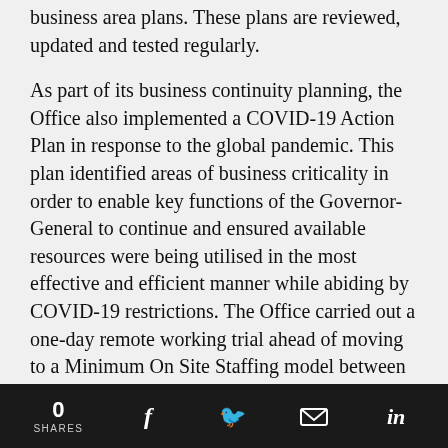business area plans. These plans are reviewed, updated and tested regularly.
As part of its business continuity planning, the Office also implemented a COVID-19 Action Plan in response to the global pandemic. This plan identified areas of business criticality in order to enable key functions of the Governor-General to continue and ensured available resources were being utilised in the most effective and efficient manner while abiding by COVID-19 restrictions. The Office carried out a one-day remote working trial ahead of moving to a Minimum On Site Staffing model between late March and early June. This exercise tested business continuity and provided helpful insights to inform the Office's COVID-19 Action Plan and remote
0 SHARES